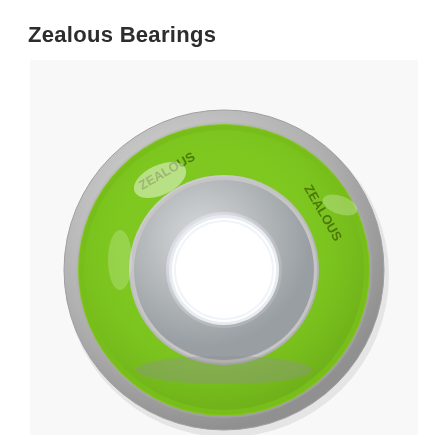Zealous Bearings
[Figure (photo): Two Zealous skateboard bearings stacked on top of each other. The front bearing shows a green rubber seal with the Zealous brand name printed on it and a chrome steel outer ring with a central hole. The second bearing beneath is partially visible showing its chrome steel body and green seal edge. The background is white.]